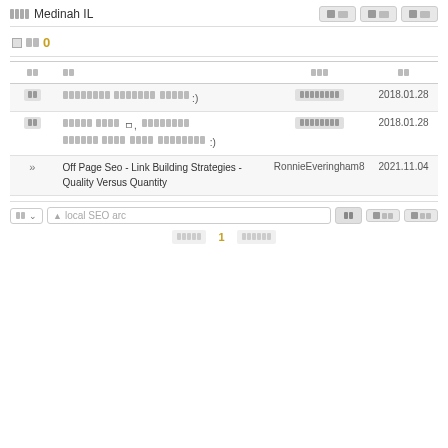Medinah IL
0
| 유형 | 제목 | 작성자명 | 날짜 |
| --- | --- | --- | --- |
| 유형 | [Korean text] :) | [Korean text] | 2018.01.28 |
| 유형 | [Korean text] :) | [Korean text] | 2018.01.28 |
| » | Off Page Seo - Link Building Strategies - Quality Versus Quantity | RonnieEveringham8 | 2021.11.04 |
local SEO arc
1